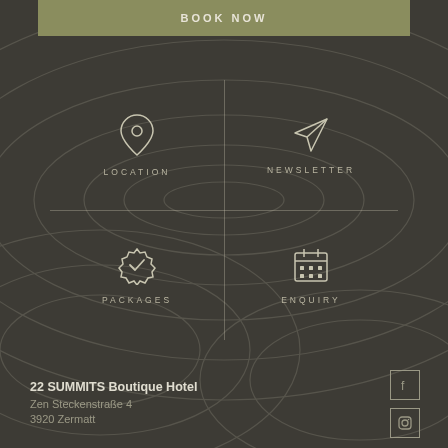[Figure (screenshot): Website footer/navigation section for 22 Summits Boutique Hotel with dark olive/brown background, topographic contour line pattern, olive colored 'BOOK NOW' button at top, four navigation icons in a 2x2 grid (Location, Newsletter, Packages, Enquiry), and hotel address information at bottom.]
BOOK NOW
LOCATION
NEWSLETTER
PACKAGES
ENQUIRY
22 SUMMITS Boutique Hotel
Zen Steckenstraße 4
3920 Zermatt